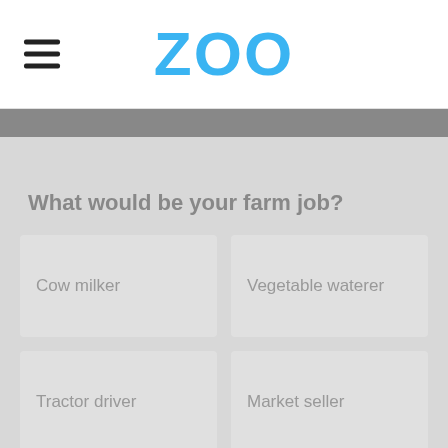ZOO
What would be your farm job?
Cow milker
Vegetable waterer
Tractor driver
Market seller
Advertisement